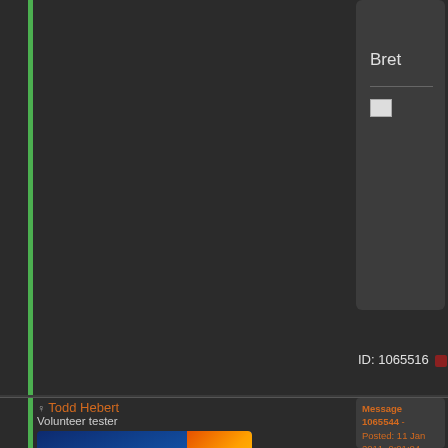Bret
ID: 1065516
Todd Hebert
Volunteer tester
[Figure (logo): Intel Xeon inside logo]
Send message
Joined: 16 Jun 00
Posts: 648
Credit: 228,292,957
RAC: 0
Message 1065544 - Posted: 11 Jan 2011, 9:01:04 UTC
The ears are in the RAID card box that I sent with I think - and there is a bezel as well to make it look pretty. Servers for the most part aren't that elegant so we tried to dress it up as best we could :)
Todd
GPU Users Group Admin and member of the 500k RAC Club